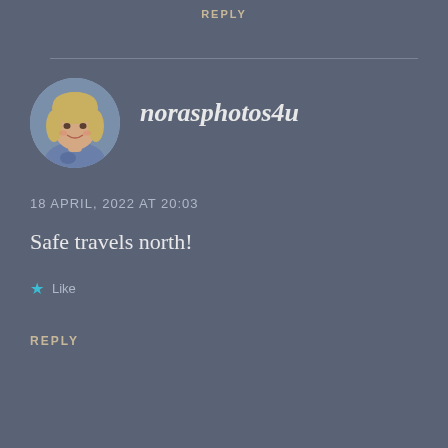REPLY
[Figure (photo): Circular avatar photo of a blonde woman smiling]
norasphotos4u
18 APRIL, 2022 AT 20:03
Safe travels north!
Like
REPLY